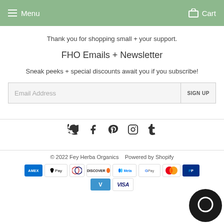Menu  Cart
Thank you for shopping small + your support.
FHO Emails + Newsletter
Sneak peeks + special discounts await you if you subscribe!
Email Address  SIGN UP
[Figure (infographic): Social media icons row: Twitter, Facebook, Pinterest, Instagram, Tumblr]
© 2022 Fey Herba Organics   Powered by Shopify
[Figure (infographic): Payment method badges: Amex, Apple Pay, Diners, Discover, Meta, Google Pay, Mastercard, PayPal, Venmo, Visa]
[Figure (other): Chat bubble widget icon (dark circle with chat icon)]